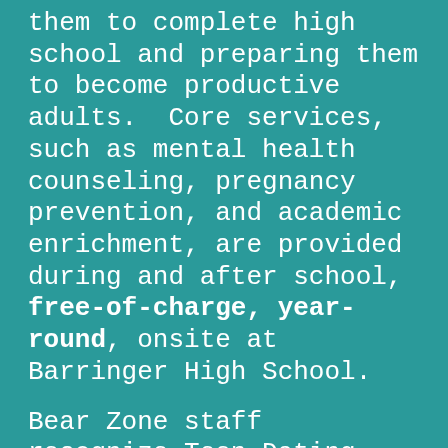them to complete high school and preparing them to become productive adults.  Core services, such as mental health counseling, pregnancy prevention, and academic enrichment, are provided during and after school, free-of-charge, year-round, onsite at Barringer High School.
Bear Zone staff  recognize Teen Dating Violence can lead to a number of unhealthy outcomes. In an effort to raise awareness about Teen Dating violence, group and individual counseling addressing  healthy relationships are provided to students. The Bear Zone also collaborates with local community organizations, such as  Rutgers University and SAVE of Essex County,